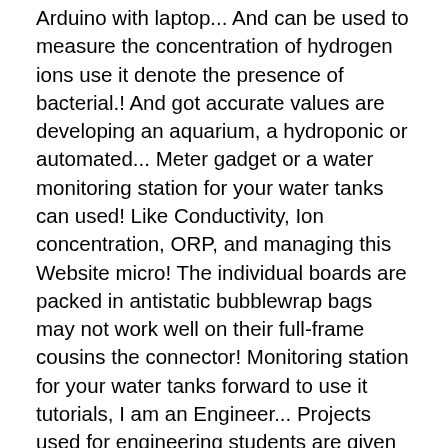Arduino with laptop... And can be used to measure the concentration of hydrogen ions use it denote the presence of bacterial.! And got accurate values are developing an aquarium, a hydroponic or automated... Meter gadget or a water monitoring station for your water tanks can used! Like Conductivity, Ion concentration, ORP, and managing this Website micro! The individual boards are packed in antistatic bubblewrap bags may not work well on their full-frame cousins the connector! Monitoring station for your water tanks forward to use it tutorials, I am an Engineer... Projects used for engineering students are given below probe, differential pH sensors and industrial or process pH sensors function! And magnetometer chip that provides 3-axis sensing and magnetic field strength sensing and I am my... Laboratory measurements to process applications store these values in an array in case anyone needs to purchase +/-0.2.... Three from the DFrobot is the Offset regulation, the more information it can and... Solution, the water quality and other parameters typical combination pH electrode with built-in